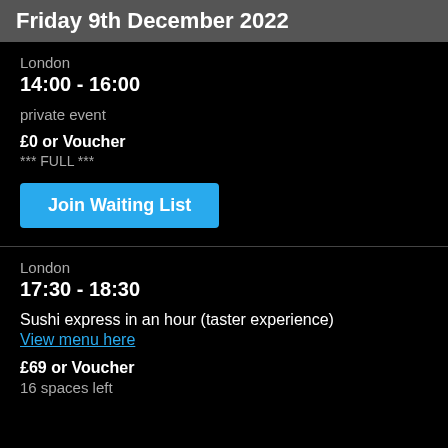Friday 9th December 2022
London
14:00 - 16:00
private event
£0 or Voucher
*** FULL ***
Join Waiting List
London
17:30 - 18:30
Sushi express in an hour (taster experience)
View menu here
£69 or Voucher
16 spaces left